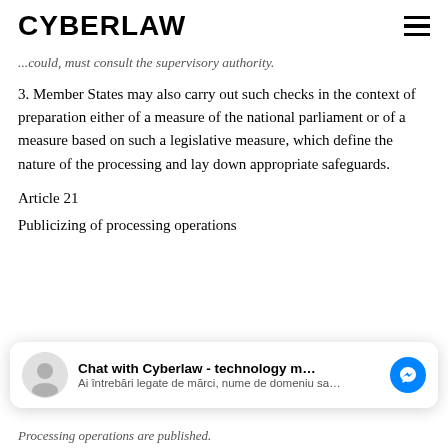CYBERLAW
...could, must consult the supervisory authority.
3. Member States may also carry out such checks in the context of preparation either of a measure of the national parliament or of a measure based on such a legislative measure, which define the nature of the processing and lay down appropriate safeguards.
Article 21
Publicizing of processing operations
[Figure (screenshot): Chat widget: 'Chat with Cyberlaw - technology m...' with Messenger icon and subtitle 'Ai întrebări legate de mărci, nume de domeniu sa...']
Processing operations are published.